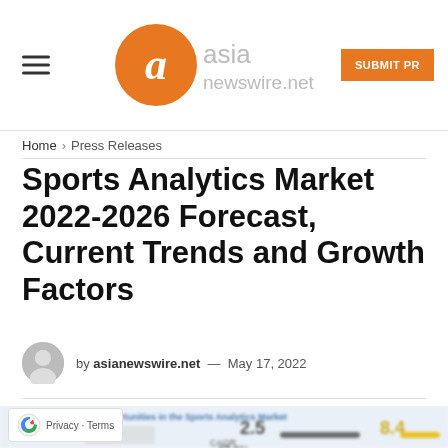asianewswire.net — SUBMIT PR
Home > Press Releases
Sports Analytics Market 2022-2026 Forecast, Current Trends and Growth Factors
by asianewswire.net — May 17, 2022
[Figure (infographic): Attractive Opportunities in the Sports Analytics Market infographic showing 2.5 billion (2022), 8.4 billion (2026), CAGR 27.3%, with world map and statistics]